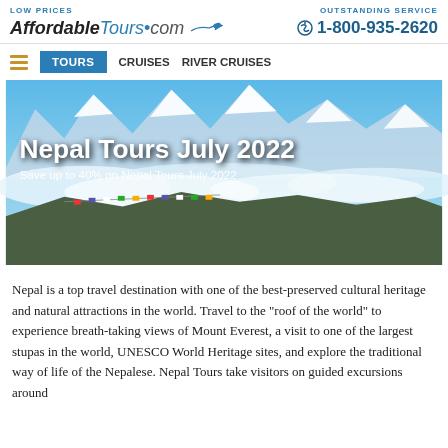LOW PRICES   AffordableTours.com   OUTSTANDING SERVICE   1-800-935-2620
TOURS   CRUISES   RIVER CRUISES
[Figure (photo): Himalayan mountain landscape with snow-capped peaks, clouds, and colorful Buddhist prayer flags in the foreground. Overlaid text reads: Nepal Tours July 2022 / Save up to 40% on Nepal Tours July 2022]
Nepal is a top travel destination with one of the best-preserved cultural heritage and natural attractions in the world. Travel to the "roof of the world" to experience breath-taking views of Mount Everest, a visit to one of the largest stupas in the world, UNESCO World Heritage sites, and explore the traditional way of life of the Nepalese. Nepal Tours take visitors on guided excursions around